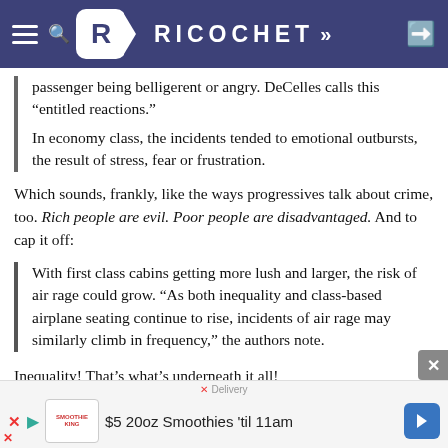RICOCHET
passenger being belligerent or angry. DeCelles calls this “entitled reactions.”
In economy class, the incidents tended to emotional outbursts, the result of stress, fear or frustration.
Which sounds, frankly, like the ways progressives talk about crime, too. Rich people are evil. Poor people are disadvantaged. And to cap it off:
With first class cabins getting more lush and larger, the risk of air rage could grow. “As both inequality and class-based airplane seating continue to rise, incidents of air rage may similarly climb in frequency,” the authors note.
Inequality! That’s what’s underneath it all!
Before I get too worked up about it, though, I’d like
[Figure (screenshot): Smoothie King advertisement banner: $5 20oz Smoothies 'til 11am]